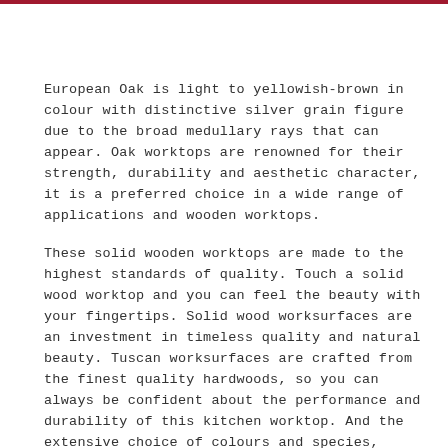European Oak is light to yellowish-brown in colour with distinctive silver grain figure due to the broad medullary rays that can appear. Oak worktops are renowned for their strength, durability and aesthetic character, it is a preferred choice in a wide range of applications and wooden worktops.
These solid wooden worktops are made to the highest standards of quality. Touch a solid wood worktop and you can feel the beauty with your fingertips. Solid wood worksurfaces are an investment in timeless quality and natural beauty. Tuscan worksurfaces are crafted from the finest quality hardwoods, so you can always be confident about the performance and durability of this kitchen worktop. And the extensive choice of colours and species, available in different sizes and thicknesses, gives you unrivalled design freedom.